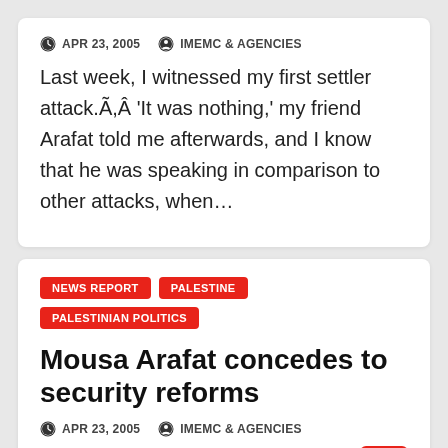APR 23, 2005   IMEMC & AGENCIES
Last week, I witnessed my first settler attack.Ã,Â  'It was nothing,' my friend Arafat told me afterwards, and I know that he was speaking in comparison to other attacks, when…
NEWS REPORT
PALESTINE
PALESTINIAN POLITICS
Mousa Arafat concedes to security reforms
APR 23, 2005   IMEMC & AGENCIES
Head of the military intelligence, Brigadier, Mousa